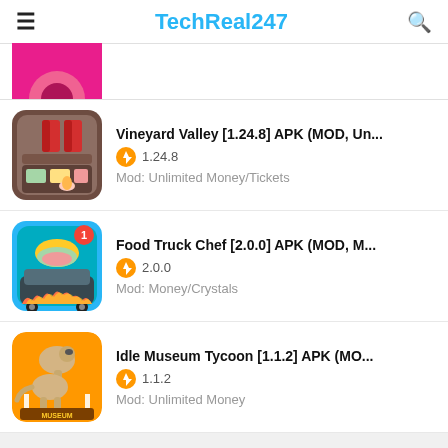TechReal247
[Figure (screenshot): Partial cropped app icon visible at top (pink background)]
Vineyard Valley [1.24.8] APK (MOD, Un...
1.24.8
Mod: Unlimited Money/Tickets
Food Truck Chef [2.0.0] APK (MOD, M...
2.0.0
Mod: Money/Crystals
Idle Museum Tycoon [1.1.2] APK (MO...
1.1.2
Mod: Unlimited Money
Leave a Comment